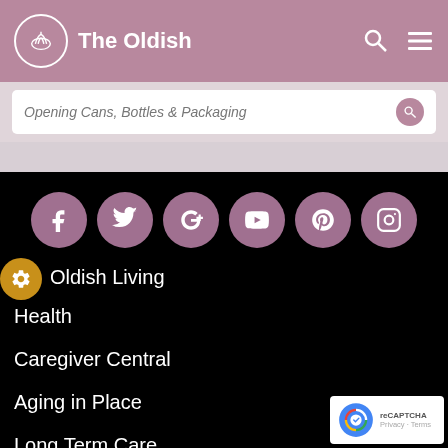The Oldish
Opening Cans, Bottles & Packaging
[Figure (infographic): Social media icon buttons: Facebook, Twitter, Google+, YouTube, Pinterest, Instagram — all in mauve/pink circles on black background]
Oldish Living
Health
Caregiver Central
Aging in Place
Long Term Care
End of Life Issues